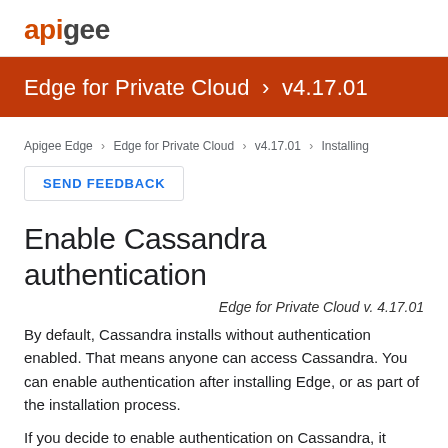apigee
Edge for Private Cloud > v4.17.01
Apigee Edge > Edge for Private Cloud > v4.17.01 > Installing
SEND FEEDBACK
Enable Cassandra authentication
Edge for Private Cloud v. 4.17.01
By default, Cassandra installs without authentication enabled. That means anyone can access Cassandra. You can enable authentication after installing Edge, or as part of the installation process.
If you decide to enable authentication on Cassandra, it